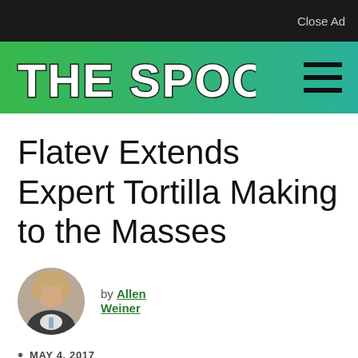Close Ad
[Figure (logo): The Spoon logo — bold outlined white text on green-to-teal gradient header bar, with hamburger menu icon on the right]
Flatev Extends Expert Tortilla Making to the Masses
by Allen Weiner
MAY 4, 2017